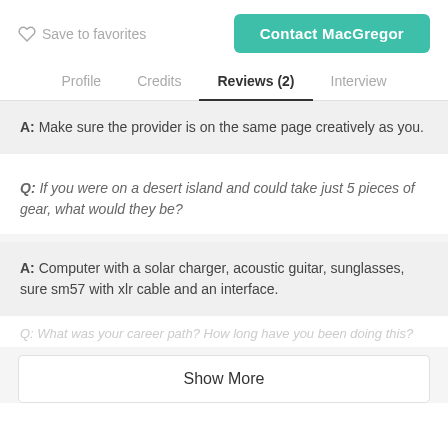Save to favorites
Contact MacGregor
Profile  Credits  Reviews (2)  Interview
A: Make sure the provider is on the same page creatively as you.
Q: If you were on a desert island and could take just 5 pieces of gear, what would they be?
A: Computer with a solar charger, acoustic guitar, sunglasses, sure sm57 with xlr cable and an interface.
Q: What was your career path? How long have you been doing this?
Show More